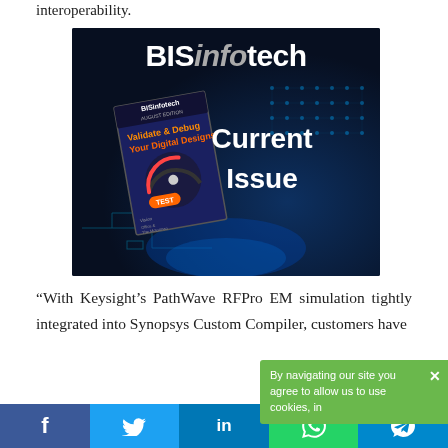interoperability.
[Figure (illustration): BISinfotech magazine advertisement showing the current issue cover with text 'Validate & Debug Your Digital Designs' and 'Current Issue' label on a dark blue circuit board background]
“With Keysight’s PathWave RFPro EM simulation tightly integrated into Synopsys Custom Compiler, customers have
By navigating our site you agree to allow us to use cookies, in
f  t  in  (whatsapp icon)  (telegram icon)